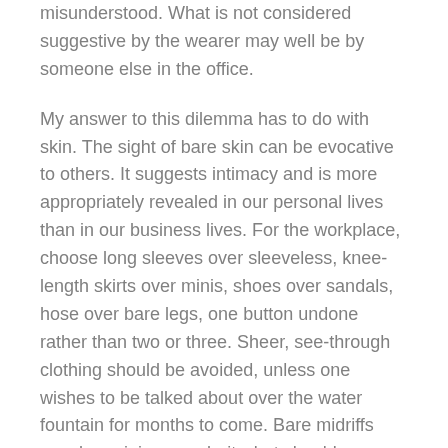misunderstood. What is not considered suggestive by the wearer may well be by someone else in the office.
My answer to this dilemma has to do with skin. The sight of bare skin can be evocative to others. It suggests intimacy and is more appropriately revealed in our personal lives than in our business lives. For the workplace, choose long sleeves over sleeveless, knee-length skirts over minis, shoes over sandals, hose over bare legs, one button undone rather than two or three. Sheer, see-through clothing should be avoided, unless one wishes to be talked about over the water fountain for months to come. Bare midriffs may be gaining popularity, but should never be worn to work, no matter your generation.
A woman’s professional image can easily be damaged at after-hours events. One of my law firm clients told me they once had a female partner whose everyday dress